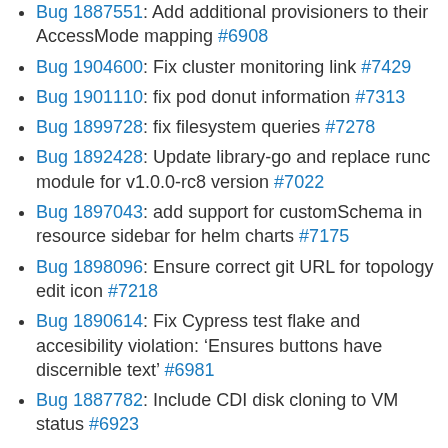Bug 1887551: Add additional provisioners to their AccessMode mapping #6908
Bug 1904600: Fix cluster monitoring link #7429
Bug 1901110: fix pod donut information #7313
Bug 1899728: fix filesystem queries #7278
Bug 1892428: Update library-go and replace runc module for v1.0.0-rc8 version #7022
Bug 1897043: add support for customSchema in resource sidebar for helm charts #7175
Bug 1898096: Ensure correct git URL for topology edit icon #7218
Bug 1890614: Fix Cypress test flake and accesibility violation: ‘Ensures buttons have discernible text’ #6981
Bug 1887782: Include CDI disk cloning to VM status #6923
Bug 1898875: Remove Tech Preview badge from dev console monitoring #7063
Bug 1893909: Remove Project link from Application